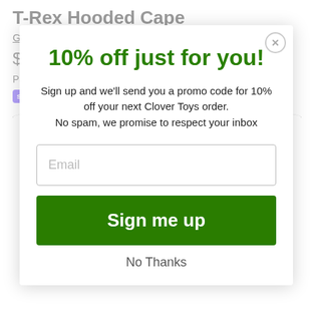T-Rex Hooded Cape
Great Pretenders
$35.00
Pay in 4 interest-free installments for orders over $50 with
shop Pay  Learn more
10% off just for you!
Sign up and we'll send you a promo code for 10% off your next Clover Toys order.
No spam, we promise to respect your inbox
Email
Sign me up
No Thanks